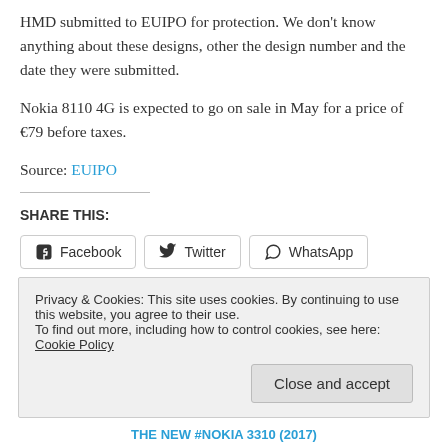HMD submitted to EUIPO for protection. We don't know anything about these designs, other the design number and the date they were submitted.
Nokia 8110 4G is expected to go on sale in May for a price of €79 before taxes.
Source: EUIPO
SHARE THIS:
Tags: EUIPO, HMD, HMD Global, Nokia, Nokia 8110, Nokia
Privacy & Cookies: This site uses cookies. By continuing to use this website, you agree to their use.
To find out more, including how to control cookies, see here: Cookie Policy
THE NEW #NOKIA 3310 (2017)